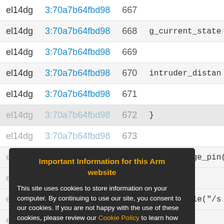| id | hash | line | code |
| --- | --- | --- | --- |
| el14dg | 3:70a7b64fbd98 | 667 |  |
| el14dg | 3:70a7b64fbd98 | 668 | g_current_state |
| el14dg | 3:70a7b64fbd98 | 669 |  |
| el14dg | 3:70a7b64fbd98 | 670 | intruder_distan |
| el14dg | 3:70a7b64fbd98 | 671 |  |
| el14dg | 3:70a7b64fbd98 | 672 | } |
| el14dg | 3:70a7b64fbd98 | 673 |  |
| el14dg | 3:70a7b64fbd98 | 674 | void change_pin() |
| el14dg | 3:70a7b64fbd98 | 675 | { |
| el14dg | 3:70a7b64fbd98 | 676 | delete_file("/s |
| el14dg | 3:70a7b64fbd98 | 677 |  |
Important Information for this Arm website
This site uses cookies to store information on your computer. By continuing to use our site, you consent to our cookies. If you are not happy with the use of these cookies, please review our Cookie Policy to learn how they can be disabled. By disabling cookies, some features of the site will not work.
Accept and hide this message